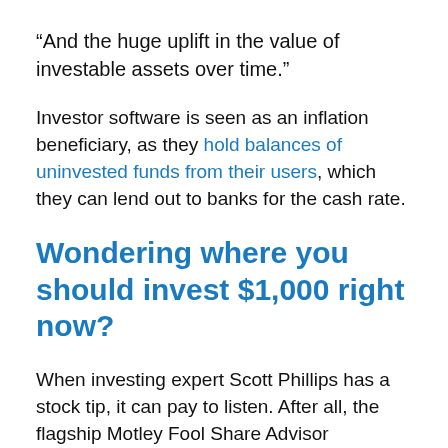“And the huge uplift in the value of investable assets over time.”
Investor software is seen as an inflation beneficiary, as they hold balances of uninvested funds from their users, which they can lend out to banks for the cash rate.
Wondering where you should invest $1,000 right now?
When investing expert Scott Phillips has a stock tip, it can pay to listen. After all, the flagship Motley Fool Share Advisor newsletter he has run for over ten years has provided thousands of